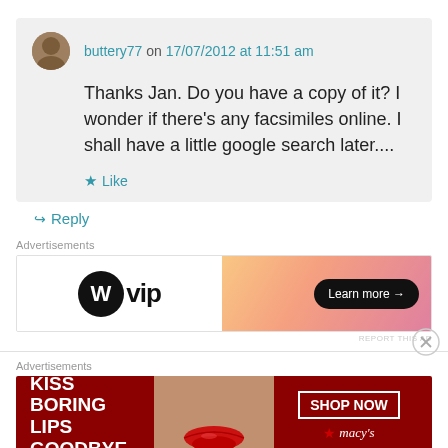buttery77 on 17/07/2012 at 11:51 am
Thanks Jan. Do you have a copy of it? I wonder if there's any facsimiles online. I shall have a little google search later....
Like
Reply
Advertisements
[Figure (other): WordPress VIP advertisement banner with gradient background and Learn more button]
REPORT THIS AD
Advertisements
[Figure (other): Macy's advertisement: KISS BORING LIPS GOODBYE with SHOP NOW button]